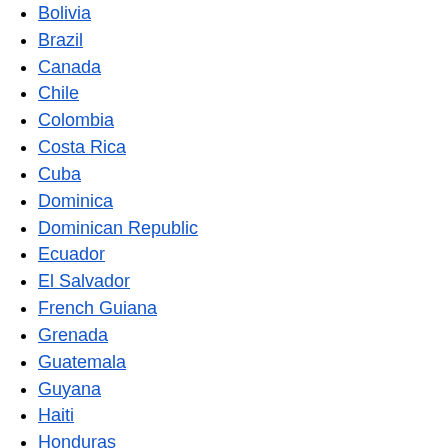Bolivia
Brazil
Canada
Chile
Colombia
Costa Rica
Cuba
Dominica
Dominican Republic
Ecuador
El Salvador
French Guiana
Grenada
Guatemala
Guyana
Haiti
Honduras
Jamaica
Mexico
Nicaragua
Panama
Paraguay
Peru
Saint Kitts and Nevis
Saint Lucia
Saint Vincent and the Grenadines